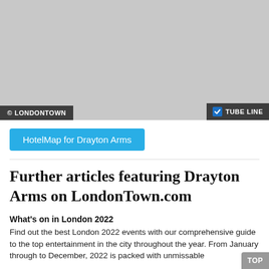[Figure (map): A grey placeholder map area showing a London street map for the Drayton Arms location, with '© LONDONTOWN' overlay on the bottom left and 'TUBE LINE' checkbox overlay on the bottom right.]
HotelMap for Drayton Arms
Further articles featuring Drayton Arms on LondonTown.com
What's on in London 2022
Find out the best London 2022 events with our comprehensive guide to the top entertainment in the city throughout the year. From January through to December, 2022 is packed with unmissable